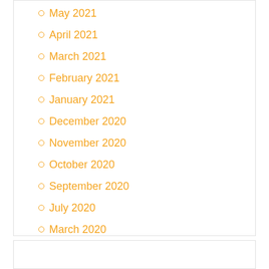May 2021
April 2021
March 2021
February 2021
January 2021
December 2020
November 2020
October 2020
September 2020
July 2020
March 2020